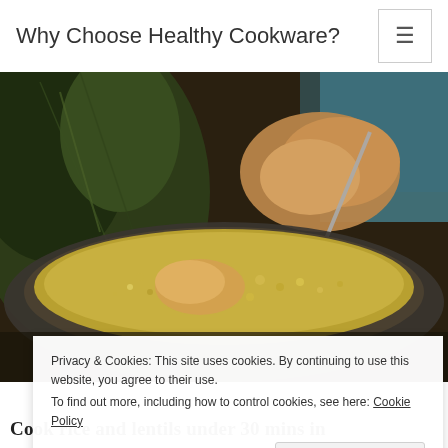Why Choose Healthy Cookware?
[Figure (photo): A pan or skillet containing a stew or soup with lentils/grains and vegetables, with a spoon resting in it. Dark leafy greens and bread visible in the background. Blurred/bokeh background.]
Privacy & Cookies: This site uses cookies. By continuing to use this website, you agree to their use.
To find out more, including how to control cookies, see here: Cookie Policy
Cook rice and lentils under 30 mins in